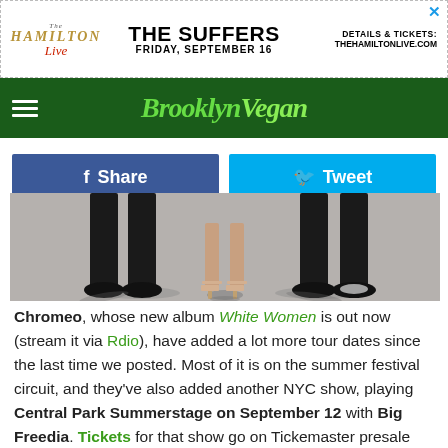[Figure (screenshot): Advertisement banner for The Hamilton Live: 'The Suffers, Friday, September 16. Details & Tickets: TheHamiltonLive.com']
BrooklynVegan
[Figure (photo): Photo of two people shown from the waist down, wearing formal black pants and heels, standing on pavement]
Chromeo, whose new album White Women is out now (stream it via Rdio), have added a lot more tour dates since the last time we posted. Most of it is on the summer festival circuit, and they've also added another NYC show, playing Central Park Summerstage on September 12 with Big Freedia. Tickets for that show go on Tickemaster presale today (8/11) at 11 AM and An Fan presale starts with